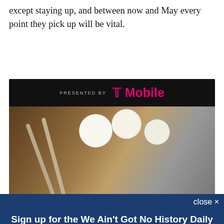except staying up, and between now and May every point they pick up will be vital.
[Figure (screenshot): Advertisement banner with 'AD' label, 'PRESENTED BY' text, T-Mobile logo in pink, and a baseball/sports themed image below.]
close ×
Sign up for the We Ain't Got No History Daily Roundup newsletter!
A daily roundup of Chelsea news from We Ain't Got No History
Email (required)
SUBSCRIBE
By submitting your email, you agree to our Terms and Privacy Notice. You can opt out at any time. This site is protected by reCAPTCHA and the Google Privacy Policy and Terms of Service apply.